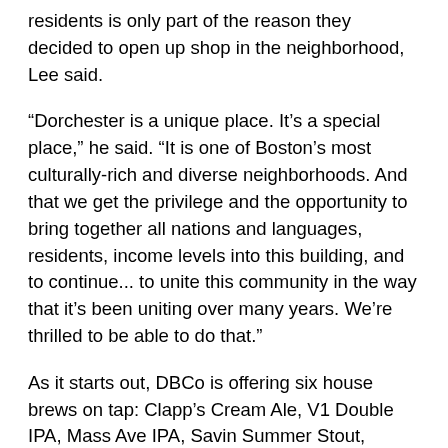residents is only part of the reason they decided to open up shop in the neighborhood, Lee said.
“Dorchester is a unique place. It’s a special place,” he said. “It is one of Boston’s most culturally-rich and diverse neighborhoods. And that we get the privilege and the opportunity to bring together all nations and languages, residents, income levels into this building, and to continue... to unite this community in the way that it’s been uniting over many years. We’re thrilled to be able to do that.”
As it starts out, DBCo is offering six house brews on tap: Clapp’s Cream Ale, V1 Double IPA, Mass Ave IPA, Savin Summer Stout, Minivan Hefe, and Nitro of the Day. A look at the menu and fresh pictures of the layout are populated through social media.
Those six beers will soon have some hoppy, frothy